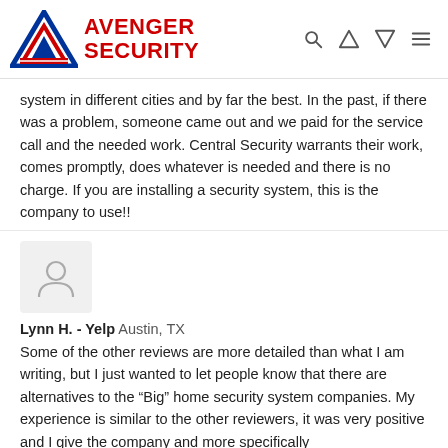[Figure (logo): Avenger Security logo with blue and red triangle icon and red bold text reading AVENGER SECURITY, plus header navigation icons (search, person, cart, menu)]
system in different cities and by far the best. In the past, if there was a problem, someone came out and we paid for the service call and the needed work. Central Security warrants their work, comes promptly, does whatever is needed and there is no charge. If you are installing a security system, this is the company to use!!
[Figure (illustration): Generic user avatar placeholder icon: grey circle with person silhouette on light grey rounded-square background]
Lynn H. - Yelp Austin, TX
Some of the other reviews are more detailed than what I am writing, but I just wanted to let people know that there are alternatives to the “Big” home security system companies. My experience is similar to the other reviewers, it was very positive and I give the company and more specifically